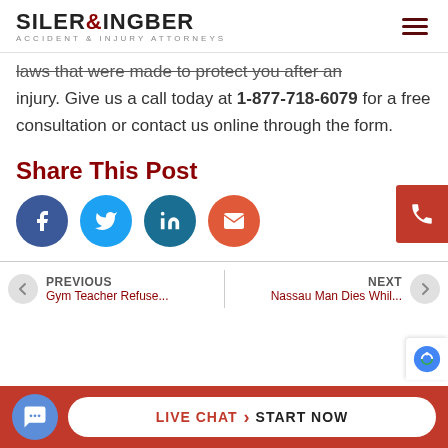[Figure (logo): Siler & Ingber Accident & Injury Attorneys logo with hamburger menu icon]
laws that were made to protect you after an injury. Give us a call today at 1-877-718-6079 for a free consultation or contact us online through the form.
Share This Post
[Figure (infographic): Social share icons: Facebook, Twitter, LinkedIn, Email]
PREVIOUS Gym Teacher Refuse...
NEXT Nassau Man Dies Whil...
[Figure (infographic): Live Chat - Start Now bar at bottom with chat icon]